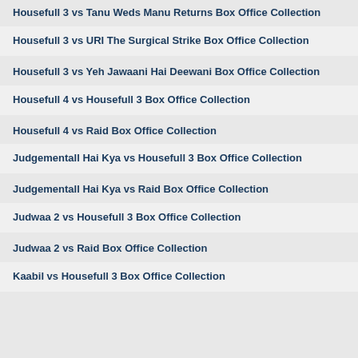Housefull 3 vs Tanu Weds Manu Returns Box Office Collection
Housefull 3 vs URI The Surgical Strike Box Office Collection
Housefull 3 vs Yeh Jawaani Hai Deewani Box Office Collection
Housefull 4 vs Housefull 3 Box Office Collection
Housefull 4 vs Raid Box Office Collection
Judgementall Hai Kya vs Housefull 3 Box Office Collection
Judgementall Hai Kya vs Raid Box Office Collection
Judwaa 2 vs Housefull 3 Box Office Collection
Judwaa 2 vs Raid Box Office Collection
Kaabil vs Housefull 3 Box Office Collection